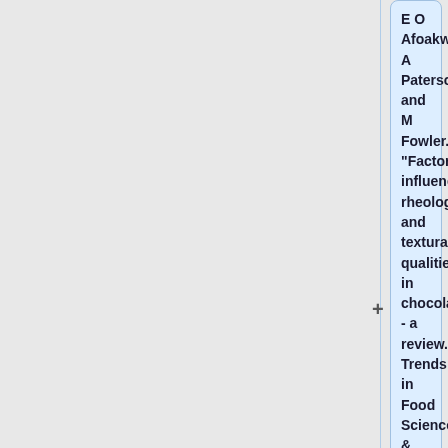E O Afoakwa, A Paterson, and M Fowler. "Factors influencing rheological and textural qualities in chocolate - a review." Trends in Food Science & Technology. 18 (2007) 290-298.
Chocolate is an ideal system for the study of soft matter, since there is a clear correspondenc
E O Afoakwa, A Paterson, M Fowler, and J Vieira. "Effect of tempering and fat crystallization